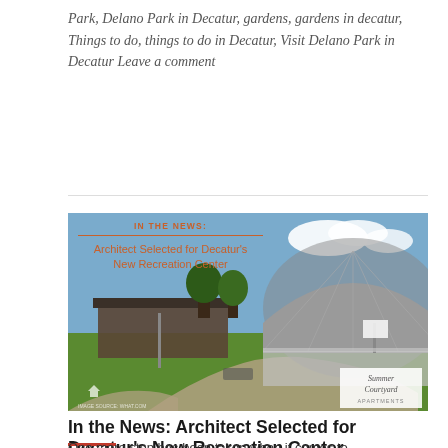Park, Delano Park in Decatur, gardens, gardens in decatur, Things to do, things to do in Decatur, Visit Delano Park in Decatur Leave a comment
[Figure (photo): Photo of a building with a large dome/geodesic roof structure on the right, and a smaller flat-roofed building on the left, with a curved driveway and green lawn. Overlaid with 'IN THE NEWS: Architect Selected for Decatur's New Recreation Center' text and a Summer Courtyard Apartments watermark in the bottom-right corner.]
In the News: Architect Selected for Decatur's New Recreation Center
One more step has been taken when it comes to